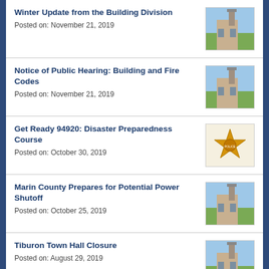Winter Update from the Building Division
Posted on: November 21, 2019
Notice of Public Hearing: Building and Fire Codes
Posted on: November 21, 2019
Get Ready 94920: Disaster Preparedness Course
Posted on: October 30, 2019
Marin County Prepares for Potential Power Shutoff
Posted on: October 25, 2019
Tiburon Town Hall Closure
Posted on: August 29, 2019
Notice of Public Hearing: Precise